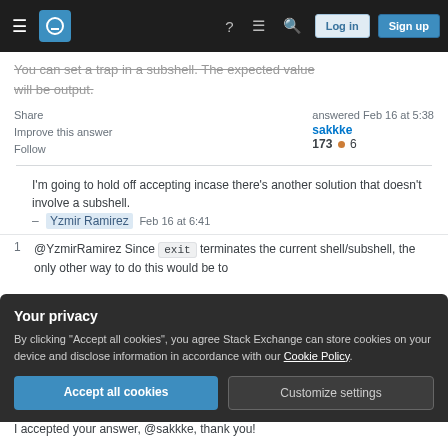Stack Exchange navigation header with Log in and Sign up buttons
You can set a trap in a subshell. The expected value will be output.
Share
Improve this answer
Follow
answered Feb 16 at 5:38
sakkke
173 ● 6
I'm going to hold off accepting incase there's another solution that doesn't involve a subshell.
– Yzmir Ramirez  Feb 16 at 6:41
1  @YzmirRamirez Since exit terminates the current shell/subshell, the only other way to do this would be to
Your privacy
By clicking "Accept all cookies", you agree Stack Exchange can store cookies on your device and disclose information in accordance with our Cookie Policy.
Accept all cookies  Customize settings
I accepted your answer, @sakkke, thank you!